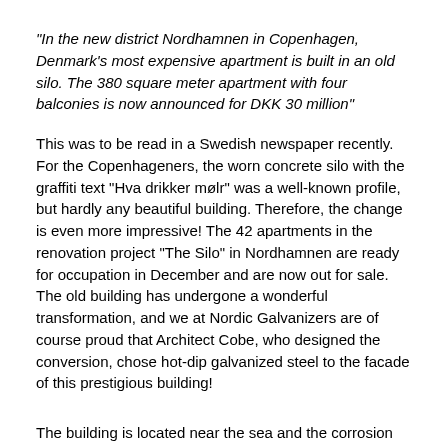“In the new district Nordhamnen in Copenhagen, Denmark’s most expensive apartment is built in an old silo. The 380 square meter apartment with four balconies is now announced for DKK 30 million”
This was to be read in a Swedish newspaper recently. For the Copenhageners, the worn concrete silo with the graffiti text “Hva drikker mølr” was a well-known profile, but hardly any beautiful building. Therefore, the change is even more impressive! The 42 apartments in the renovation project “The Silo” in Nordhamnen are ready for occupation in December and are now out for sale. The old building has undergone a wonderful transformation, and we at Nordic Galvanizers are of course proud that Architect Cobe, who designed the conversion, chose hot-dip galvanized steel to the facade of this prestigious building!
The building is located near the sea and the corrosion category is considered to be C4. The coating thickness was specified to a minimum of 100 microns. The used steel was S 235 with a slicium content in the area 0.20-0.25 % and a thickness of 3 mm. The facade consists of a large number of pieces, many with their own identity, and the traceability during the assembling process has